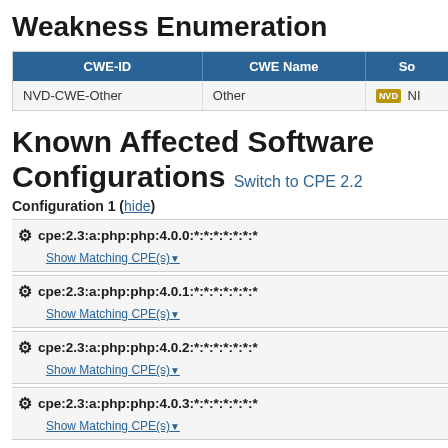Weakness Enumeration
| CWE-ID | CWE Name | So... |
| --- | --- | --- |
| NVD-CWE-Other | Other | NI... |
Known Affected Software Configurations Switch to CPE 2.2
Configuration 1 ( hide )
cpe:2.3:a:php:php:4.0.0:*:*:*:*:*:*:*  Show Matching CPE(s)▼
cpe:2.3:a:php:php:4.0.1:*:*:*:*:*:*:*  Show Matching CPE(s)▼
cpe:2.3:a:php:php:4.0.2:*:*:*:*:*:*:*  Show Matching CPE(s)▼
cpe:2.3:a:php:php:4.0.3:*:*:*:*:*:*:*  Show Matching CPE(s)▼